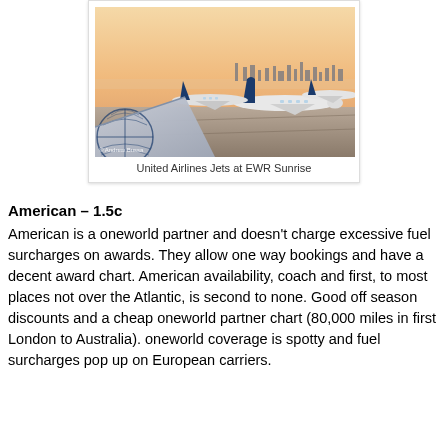[Figure (photo): Photograph of United Airlines jets parked at EWR (Newark Airport) at sunrise, with the New York City skyline visible in the background. The United Airlines globe logo is visible on the foreground wing. Photo credit: © Andrew Bussa.]
United Airlines Jets at EWR Sunrise
American – 1.5c
American is a oneworld partner and doesn't charge excessive fuel surcharges on awards.  They allow one way bookings and have a decent award chart.  American availability, coach and first, to most places not over the Atlantic, is second to none.  Good off season discounts and a cheap oneworld partner chart (80,000 miles in first London to Australia).  oneworld coverage is spotty and fuel surcharges pop up on European carriers.